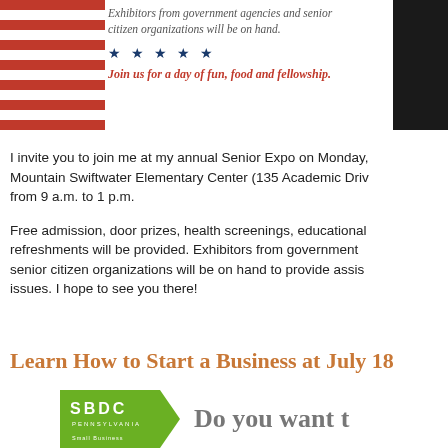[Figure (illustration): Banner image with American flag on left, italic text about exhibitors from government agencies and senior citizen organizations, five blue stars, red bold italic text 'Join us for a day of fun, food and fellowship.', and dark silhouette on right.]
I invite you to join me at my annual Senior Expo on Monday, Mountain Swiftwater Elementary Center (135 Academic Driv... from 9 a.m. to 1 p.m.
Free admission, door prizes, health screenings, educational... refreshments will be provided. Exhibitors from government... senior citizen organizations will be on hand to provide assis... issues. I hope to see you there!
Learn How to Start a Business at July 18
[Figure (logo): SBDC Pennsylvania logo on green chevron background, with partial text 'Do you want t' in grey to the right.]